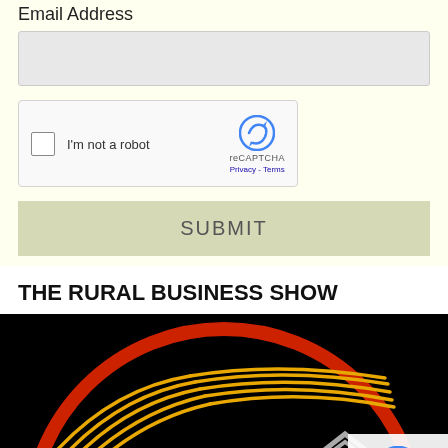Email Address
[Figure (screenshot): Email address input field, empty text box with light gray background]
[Figure (screenshot): reCAPTCHA widget showing checkbox, 'I'm not a robot' text, reCAPTCHA logo, Privacy and Terms links]
[Figure (screenshot): SUBMIT button with light olive/tan background]
THE RURAL BUSINESS SHOW
[Figure (logo): The Rural Business Show logo: black background with red circular border, golden wheat/field swoosh design, red barn building at lower left, red and gray house at lower right]